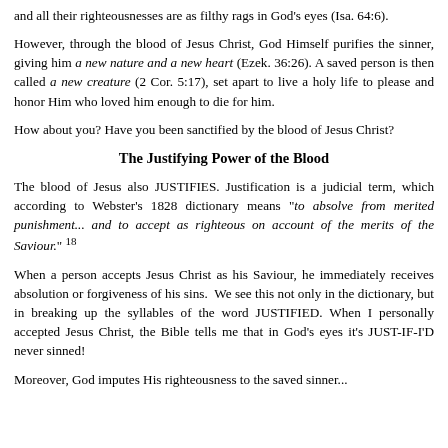and all their righteousnesses are as filthy rags in God's eyes (Isa. 64:6).
However, through the blood of Jesus Christ, God Himself purifies the sinner, giving him a new nature and a new heart (Ezek. 36:26). A saved person is then called a new creature (2 Cor. 5:17), set apart to live a holy life to please and honor Him who loved him enough to die for him.
How about you? Have you been sanctified by the blood of Jesus Christ?
The Justifying Power of the Blood
The blood of Jesus also JUSTIFIES. Justification is a judicial term, which according to Webster's 1828 dictionary means "to absolve from merited punishment... and to accept as righteous on account of the merits of the Saviour." 18
When a person accepts Jesus Christ as his Saviour, he immediately receives absolution or forgiveness of his sins. We see this not only in the dictionary, but in breaking up the syllables of the word JUSTIFIED. When I personally accepted Jesus Christ, the Bible tells me that in God's eyes it's JUST-IF-I'D never sinned!
Moreover, God imputes His righteousness to the saved sinner...